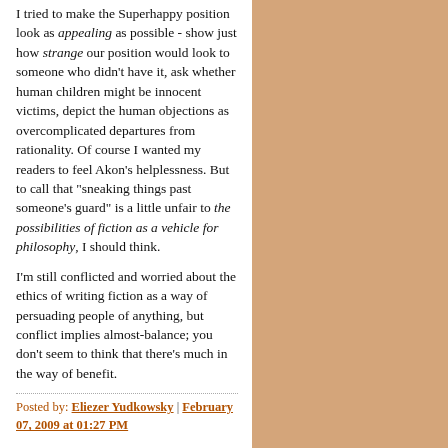I tried to make the Superhappy position look as appealing as possible - show just how strange our position would look to someone who didn't have it, ask whether human children might be innocent victims, depict the human objections as overcomplicated departures from rationality. Of course I wanted my readers to feel Akon's helplessness. But to call that "sneaking things past someone's guard" is a little unfair to the possibilities of fiction as a vehicle for philosophy, I should think.

I'm still conflicted and worried about the ethics of writing fiction as a way of persuading people of anything, but conflict implies almost-balance; you don't seem to think that there's much in the way of benefit.
Posted by: Eliezer Yudkowsky | February 07, 2009 at 01:27 PM